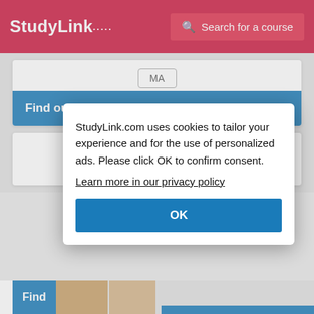StudyLink — Search for a course
MA
Find out more
University of ...
StudyLink.com uses cookies to tailor your experience and for the use of personalized ads. Please click OK to confirm consent. Learn more in our privacy policy
OK